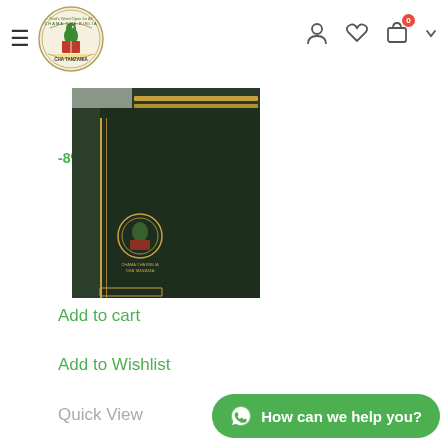Chama Cha Biblia Cha Tanzania website navigation header
[Figure (photo): A dark green/black Bible with gold zipper and gold emblem logo on the cover, shown at an angle]
-8%
Add to cart
Add to Wishlist
Quick View
How can we help you?